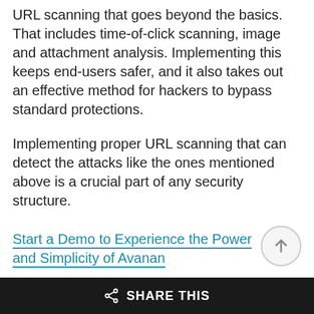URL scanning that goes beyond the basics. That includes time-of-click scanning, image and attachment analysis. Implementing this keeps end-users safer, and it also takes out an effective method for hackers to bypass standard protections.
Implementing proper URL scanning that can detect the attacks like the ones mentioned above is a crucial part of any security structure.
Start a Demo to Experience the Power and Simplicity of Avanan
Avanan Archives
SHARE THIS